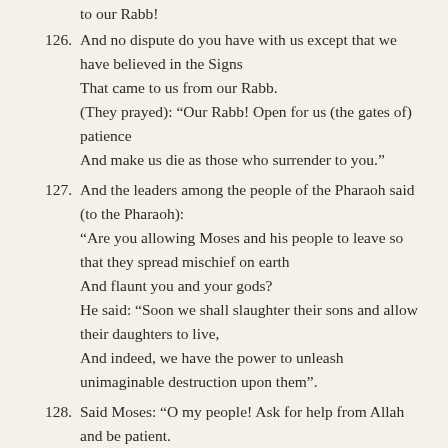to our Rabb!
126. And no dispute do you have with us except that we have believed in the Signs That came to us from our Rabb. (They prayed): “Our Rabb! Open for us (the gates of) patience And make us die as those who surrender to you.”
127. And the leaders among the people of the Pharaoh said (to the Pharaoh): “Are you allowing Moses and his people to leave so that they spread mischief on earth And flaunt you and your gods? He said: “Soon we shall slaughter their sons and allow their daughters to live, And indeed, we have the power to unleash unimaginable destruction upon them”.
128. Said Moses: “O my people! Ask for help from Allah and be patient.